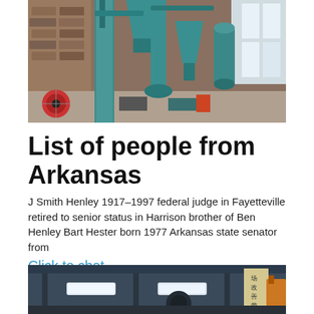[Figure (photo): Industrial facility interior with teal/blue industrial equipment including cyclone separators, pipes, and machinery on a concrete floor with brick walls and windows.]
List of people from Arkansas
J Smith Henley 1917–1997 federal judge in Fayetteville retired to senior status in Harrison brother of Ben Henley Bart Hester born 1977 Arkansas state senator from
Click to chat
[Figure (photo): Industrial interior showing large machinery, ceiling fixtures with lights, and Chinese text on a sign in a factory or warehouse setting.]